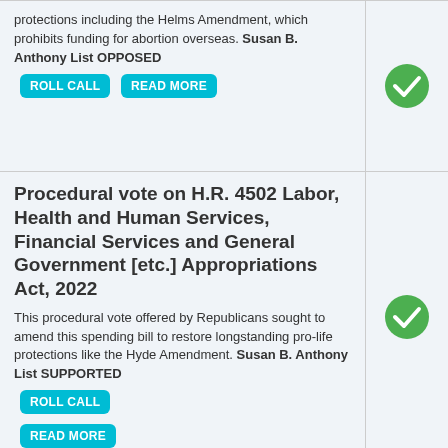protections including the Helms Amendment, which prohibits funding for abortion overseas. Susan B. Anthony List OPPOSED
Procedural vote on H.R. 4502 Labor, Health and Human Services, Financial Services and General Government [etc.] Appropriations Act, 2022
This procedural vote offered by Republicans sought to amend this spending bill to restore longstanding pro-life protections like the Hyde Amendment. Susan B. Anthony List SUPPORTED
H.R. 4502 Labor, Health and Human Services, Financial Services and General Government [etc.] Appropriations Act, 2022
This spending bill funds abortion by eliminating